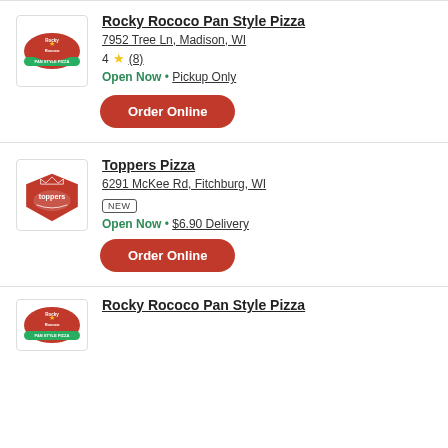[Figure (logo): Rocky Rococo Pan Style Pizza logo - red and green circular badge]
Rocky Rococo Pan Style Pizza
7952 Tree Ln, Madison, WI
4 ★ (8)
Open Now • Pickup Only
Order Online
[Figure (logo): Toppers Pizza logo - red shield with crown and Toppers text]
Toppers Pizza
6291 McKee Rd, Fitchburg, WI
NEW
Open Now • $6.90 Delivery
Order Online
[Figure (logo): Rocky Rococo Pan Style Pizza logo - partially visible]
Rocky Rococo Pan Style Pizza